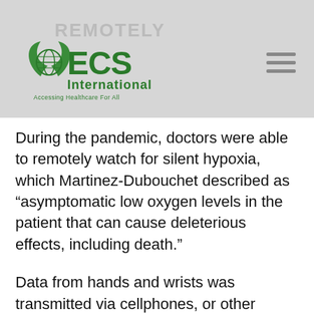ECS International — Accessing Healthcare For All
During the pandemic, doctors were able to remotely watch for silent hypoxia, which Martinez-Dubouchet described as “asymptomatic low oxygen levels in the patient that can cause deleterious effects, including death.”
Data from hands and wrists was transmitted via cellphones, or other electronic means, to Baptist’s Telehealth “logistics center,” where a medical team used a web-based application to monitor patients’ pulse oximetry, heart and respiratory rates.
“By doing so, we were able to keep thousands of patients at home and save the county a multitude of